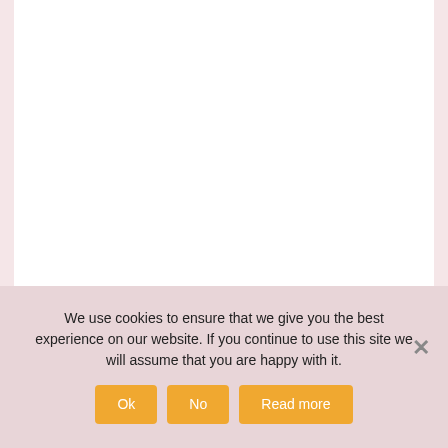[Figure (other): White content area with pink/mauve side borders, partially visible at top]
We use cookies to ensure that we give you the best experience on our website. If you continue to use this site we will assume that you are happy with it.
Ok   No   Read more